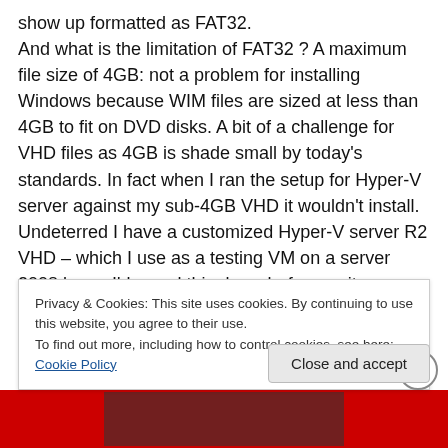show up formatted as FAT32. And what is the limitation of FAT32 ? A maximum file size of 4GB: not a problem for installing Windows because WIM files are sized at less than 4GB to fit on DVD disks. A bit of a challenge for VHD files as 4GB is shade small by today's standards. In fact when I ran the setup for Hyper-V server against my sub-4GB VHD it wouldn't install. Undeterred I have a customized Hyper-V server R2 VHD – which I use as a testing VM on a server 2008 box – I'd pared this down before so it uses comfortably less than 3.5GB on a 6GB VHD. I attached that VHD as a second
Privacy & Cookies: This site uses cookies. By continuing to use this website, you agree to their use.
To find out more, including how to control cookies, see here: Cookie Policy